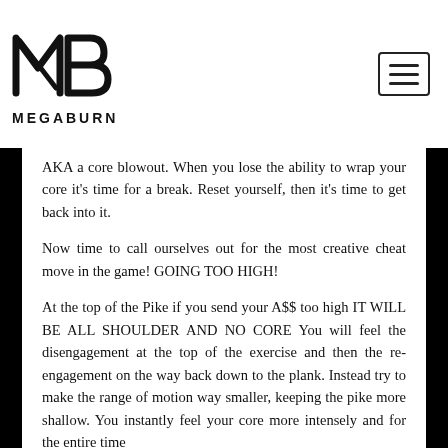[Figure (logo): MegaBurn logo with MB monogram and MEGABURN text]
AKA a core blowout. When you lose the ability to wrap your core it's time for a break. Reset yourself, then it's time to get back into it.
Now time to call ourselves out for the most creative cheat move in the game! GOING TOO HIGH!
At the top of the Pike if you send your A$$ too high IT WILL BE ALL SHOULDER AND NO CORE You will feel the disengagement at the top of the exercise and then the re-engagement on the way back down to the plank. Instead try to make the range of motion way smaller, keeping the pike more shallow. You instantly feel your core more intensely and for the entire time